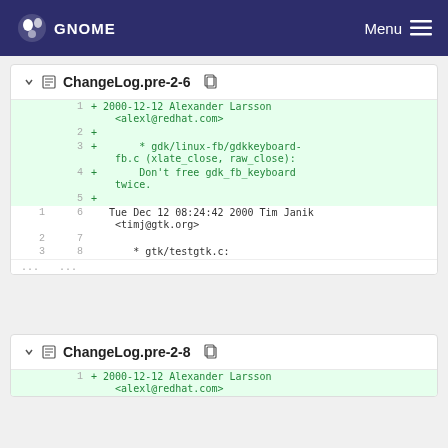GNOME  Menu
ChangeLog.pre-2-6
| old | new | diff |
| --- | --- | --- |
|  | 1 | + 2000-12-12  Alexander Larsson <alexl@redhat.com> |
|  | 2 | + |
|  | 3 | +        * gdk/linux-fb/gdkkeyboard-fb.c (xlate_close, raw_close): |
|  | 4 | +        Don't free gdk_fb_keyboard twice. |
|  | 5 | + |
| 1 | 6 |    Tue Dec 12 08:24:42 2000  Tim Janik <timj@gtk.org> |
| 2 | 7 |  |
| 3 | 8 |          * gtk/testgtk.c: |
| ... | ... |  |
ChangeLog.pre-2-8
| old | new | diff |
| --- | --- | --- |
|  | 1 | + 2000-12-12  Alexander Larsson <alexl@redhat.com> |